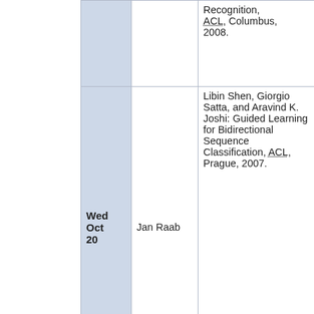| date | speaker | paper |
| --- | --- | --- |
|  |  | Recognition, ACL, Columbus, 2008. |
| Wed Oct 20 | Jan Raab | Libin Shen, Giorgio Satta, and Aravind K. Joshi: Guided Learning for Bidirectional Sequence Classification, ACL, Prague, 2007. |
A source of inspiration: http://www.statmt.org/ued/?n=Public.WeeklyMeeting Edinburgh Reading Group
Summer 2008
| date | speaker | paper |
| --- | --- | --- |
| Mar | Pavel | Aria Haghighi and Dan Klein: Unsupervised Coreference |